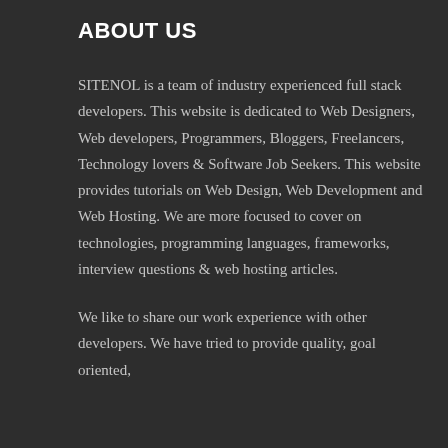ABOUT US
SITENOL is a team of industry experienced full stack developers. This website is dedicated to Web Designers, Web developers, Programmers, Bloggers, Freelancers, Technology lovers & Software Job Seekers. This website provides tutorials on Web Design, Web Development and Web Hosting. We are more focused to cover on technologies, programming languages, frameworks, interview questions & web hosting articles.
We like to share our work experience with other developers. We have tried to provide quality, goal oriented,